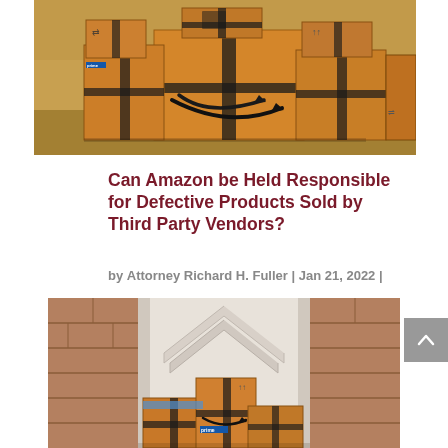[Figure (photo): Stack of Amazon Prime cardboard shipping boxes with the Amazon smile logo, piled against a wall]
Can Amazon be Held Responsible for Defective Products Sold by Third Party Vendors?
by Attorney Richard H. Fuller | Jan 21, 2022 |
Article, Personal Injury
[Figure (photo): Amazon Prime packages stacked at a front door with brick wall on either side]